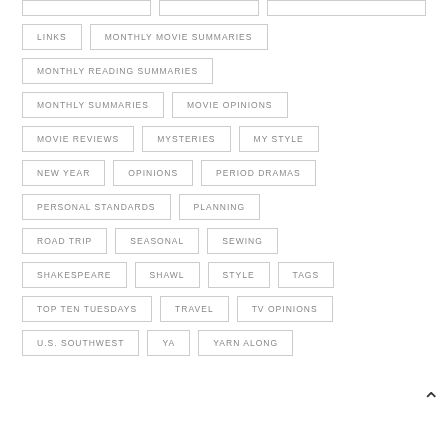LINKS
MONTHLY MOVIE SUMMARIES
MONTHLY READING SUMMARIES
MONTHLY SUMMARIES
MOVIE OPINIONS
MOVIE REVIEWS
MYSTERIES
MY STYLE
NEW YEAR
OPINIONS
PERIOD DRAMAS
PERSONAL STANDARDS
PLANNING
ROAD TRIP
SEASONAL
SEWING
SHAKESPEARE
SHAWL
STYLE
TAGS
TOP TEN TUESDAYS
TRAVEL
TV OPINIONS
U.S. SOUTHWEST
YA
YARN ALONG